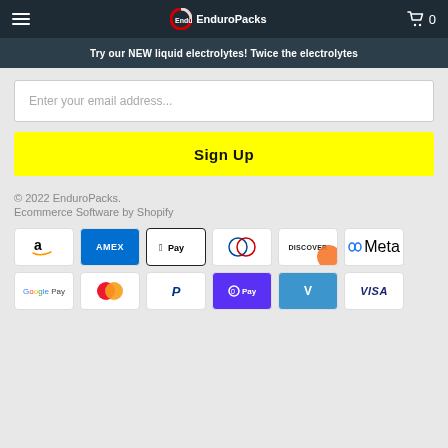EnduroPacks — navigation bar with hamburger menu, logo, and cart icon (0 items)
Try our NEW liquid electrolytes! Twice the electrolytes
Enter your email address...
Sign Up
© 2022 EnduroPacks.
Ecommerce Software by Shopify
[Figure (infographic): Payment method icons: Amazon, AMEX, Apple Pay, Diners Club, Discover, Meta Pay, Google Pay, Mastercard, PayPal, Shop Pay, Venmo, Visa]